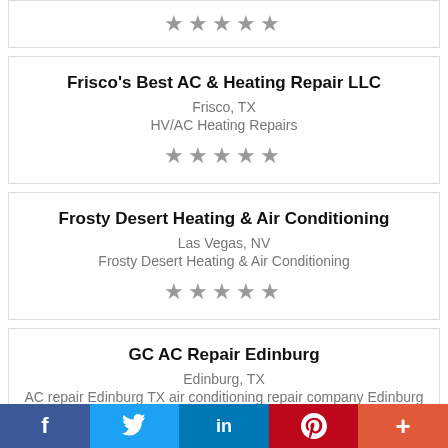[Figure (other): 5-star rating (gray stars) for a truncated card at top]
Frisco's Best AC & Heating Repair LLC
Frisco, TX
HV/AC Heating Repairs
[Figure (other): 5-star rating (gray stars)]
Frosty Desert Heating & Air Conditioning
Las Vegas, NV
Frosty Desert Heating & Air Conditioning
[Figure (other): 5-star rating (gray stars)]
GC AC Repair Edinburg
Edinburg, TX
AC repair Edinburg TX air conditioning repair company Edinburg AC installation company
f  (Twitter bird)  in  (Pinterest P)  +